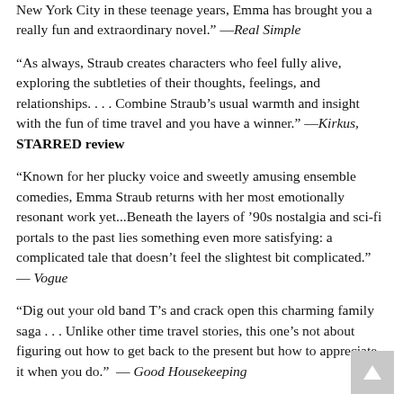New York City in these teenage years, Emma has brought you a really fun and extraordinary novel." —Real Simple
"As always, Straub creates characters who feel fully alive, exploring the subtleties of their thoughts, feelings, and relationships. . . . Combine Straub's usual warmth and insight with the fun of time travel and you have a winner." —Kirkus, STARRED review
"Known for her plucky voice and sweetly amusing ensemble comedies, Emma Straub returns with her most emotionally resonant work yet...Beneath the layers of '90s nostalgia and sci-fi portals to the past lies something even more satisfying: a complicated tale that doesn't feel the slightest bit complicated." —Vogue
"Dig out your old band T's and crack open this charming family saga . . . Unlike other time travel stories, this one's not about figuring out how to get back to the present but how to appreciate it when you do."  —Good Housekeeping